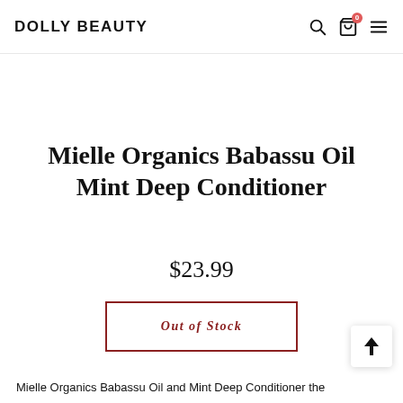DOLLY BEAUTY
Mielle Organics Babassu Oil Mint Deep Conditioner
$23.99
Out of Stock
Mielle Organics Babassu Oil and Mint Deep Conditioner the